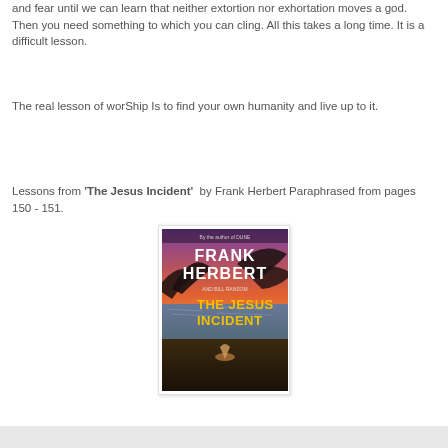and fear until we can learn that neither extortion nor exhortation moves a god. Then you need something to which you can cling. All this takes a long time. It is a difficult lesson.
The real lesson of worShip Is to find your own humanity and live up to it.
Lessons from 'The Jesus Incident' by Frank Herbert Paraphrased from pages 150 - 151.
[Figure (photo): Book cover of 'The Jesus Incident' by Frank Herbert and Bill Ransom, showing pterodactyl-like creatures and a figure on a beach, with stylized title text.]